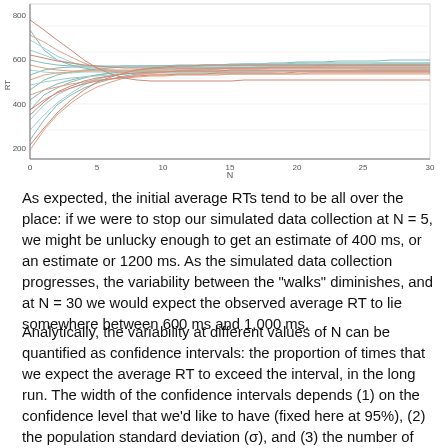[Figure (continuous-plot): Line chart showing multiple simulated random walk trajectories of average reaction times (RT in ms) as a function of sample size N (0 to 30). Lines are colored in teal/green and orange/red, showing high variability at small N (ranging roughly 200–800 ms) that converges toward 600–700 ms as N increases to 30. Y-axis labeled with values 200, 400, 600, 800; X-axis labeled N with ticks at 0, 5, 10, 15, 20, 25, 30.]
As expected, the initial average RTs tend to be all over the place: if we were to stop our simulated data collection at N = 5, we might be unlucky enough to get an estimate of 400 ms, or an estimate or 1200 ms. As the simulated data collection progresses, the variability between the "walks" diminishes, and at N = 30 we would expect the observed average RT to lie somewhere between 600 ms and 1,000 ms.
Analytically, the variability at different values of N can be quantified as confidence intervals: the proportion of times that we expect the average RT to exceed the interval, in the long run. The width of the confidence intervals depends (1) on the confidence level that we'd like to have (fixed here at 95%), (2) the population standard deviation (σ), and (3) the number of participants. Now, we don't really know what σ is, but we can get some kind of plausible range of σ-values, by